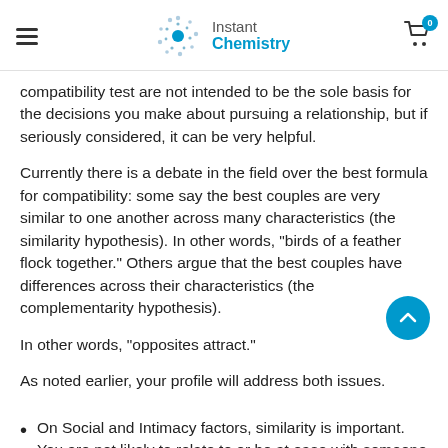Instant Chemistry
compatibility test are not intended to be the sole basis for the decisions you make about pursuing a relationship, but if seriously considered, it can be very helpful.
Currently there is a debate in the field over the best formula for compatibility: some say the best couples are very similar to one another across many characteristics (the similarity hypothesis). In other words, "birds of a feather flock together." Others argue that the best couples have differences across their characteristics (the complementarity hypothesis).
In other words, "opposites attract."
As noted earlier, your profile will address both issues.
On Social and Intimacy factors, similarity is important. You are not likely to relate to or be at ease with someone who is very different from you.